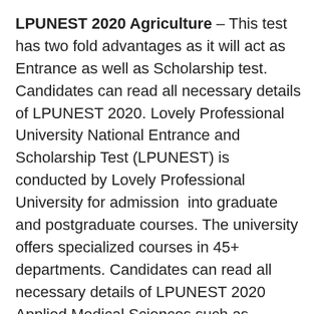LPUNEST 2020 Agriculture – This test has two fold advantages as it will act as Entrance as well as Scholarship test. Candidates can read all necessary details of LPUNEST 2020. Lovely Professional University National Entrance and Scholarship Test (LPUNEST) is conducted by Lovely Professional University for admission  into graduate and postgraduate courses. The university offers specialized courses in 45+ departments. Candidates can read all necessary details of LPUNEST 2020 Applied Medical Sciences such as syllabus, exam pattern, application form.